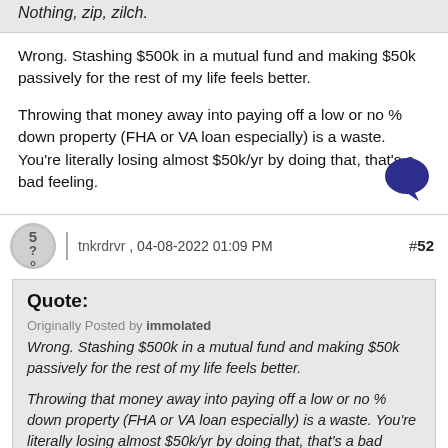No better feeling than owing no one ANYTHING. Nothing, zip, zilch.
Wrong. Stashing $500k in a mutual fund and making $50k passively for the rest of my life feels better.
Throwing that money away into paying off a low or no % down property (FHA or VA loan especially) is a waste. You're literally losing almost $50k/yr by doing that, that's a bad feeling.
tnkrdrvr , 04-08-2022 01:09 PM  #52
Quote: Originally Posted by immolated Wrong. Stashing $500k in a mutual fund and making $50k passively for the rest of my life feels better. Throwing that money away into paying off a low or no % down property (FHA or VA loan especially) is a waste. You're literally losing almost $50k/yr by doing that, that's a bad feeling.